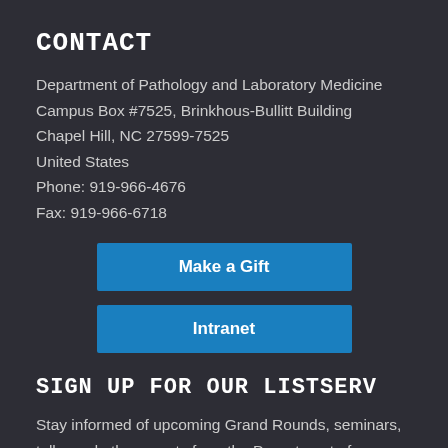CONTACT
Department of Pathology and Laboratory Medicine
Campus Box #7525, Brinkhous-Bullitt Building
Chapel Hill, NC 27599-7525
United States
Phone: 919-966-4676
Fax: 919-966-6718
Make a Gift
Intranet
SIGN UP FOR OUR LISTSERV
Stay informed of upcoming Grand Rounds, seminars, talks and other events from the Department of Pathology.